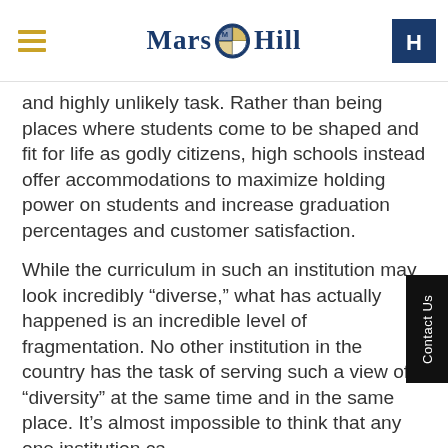Mars Hill
and highly unlikely task. Rather than being places where students come to be shaped and fit for life as godly citizens, high schools instead offer accommodations to maximize holding power on students and increase graduation percentages and customer satisfaction.
While the curriculum in such an institution may look incredibly “diverse,” what has actually happened is an incredible level of fragmentation. No other institution in the country has the task of serving such a view of “diversity” at the same time and in the same place. It’s almost impossible to think that any one institution ca
A further result of this trend is that this fragmentation and attempt toward accommodation produces a neutral